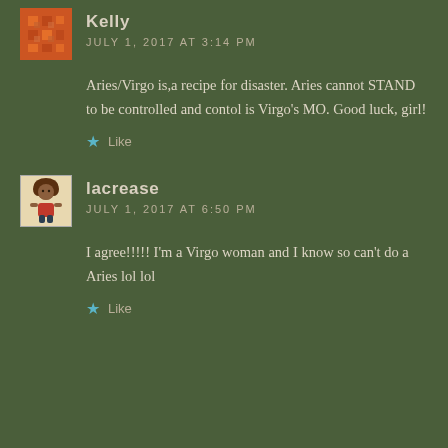Kelly
JULY 1, 2017 AT 3:14 PM
Aries/Virgo is,a recipe for disaster. Aries cannot STAND to be controlled and contol is Virgo's MO. Good luck, girl!
Like
lacrease
JULY 1, 2017 AT 6:50 PM
I agree!!!!! I'm a Virgo woman and I know so can't do a Aries lol lol
Like